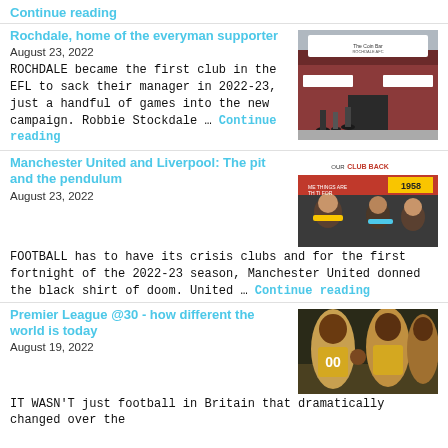Continue reading
Rochdale, home of the everyman supporter
August 23, 2022
[Figure (photo): Photo of people outside Rochdale AFC ground, exterior view with signage]
ROCHDALE became the first club in the EFL to sack their manager in 2022-23, just a handful of games into the new campaign. Robbie Stockdale … Continue reading
Manchester United and Liverpool: The pit and the pendulum
August 23, 2022
[Figure (photo): Photo of football fans holding protest banners including '1958' and 'CLUB BACK']
FOOTBALL has to have its crisis clubs and for the first fortnight of the 2022-23 season, Manchester United donned the black shirt of doom. United … Continue reading
Premier League @30 - how different the world is today
August 19, 2022
[Figure (photo): Photo of Premier League footballers, two players in gold/yellow jerseys]
IT WASN'T just football in Britain that dramatically changed over the